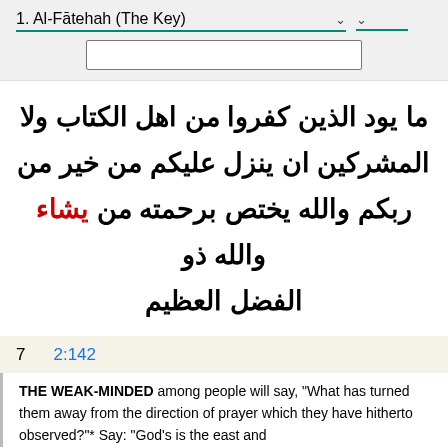1. Al-Fātehah (The Key)
ما يود الذين كفروا من اهل الكتاب ولا المشركين ان ينزل عليكم من خير من ربكم والله يختص برحمته من يشاء والله ذو الفضل العظيم
7   2:142
THE WEAK-MINDED among people will say, "What has turned them away from the direction of prayer which they have hitherto observed?"* Say: "God's is the east and the west..."